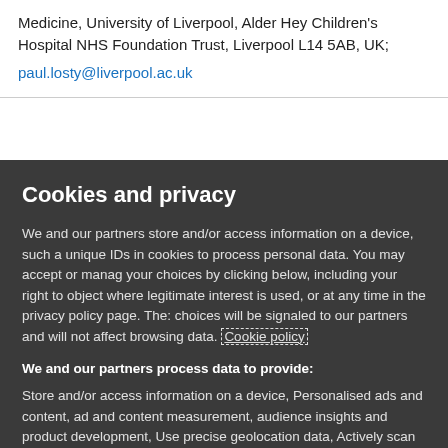Medicine, University of Liverpool, Alder Hey Children's Hospital NHS Foundation Trust, Liverpool L14 5AB, UK;
paul.losty@liverpool.ac.uk
Cookies and privacy
We and our partners store and/or access information on a device, such a unique IDs in cookies to process personal data. You may accept or manage your choices by clicking below, including your right to object where legitimate interest is used, or at any time in the privacy policy page. These choices will be signaled to our partners and will not affect browsing data. Cookie policy
We and our partners process data to provide:
Store and/or access information on a device, Personalised ads and content, ad and content measurement, audience insights and product development, Use precise geolocation data, Actively scan device characteristics for identification
List of Partners (vendors)
I Accept